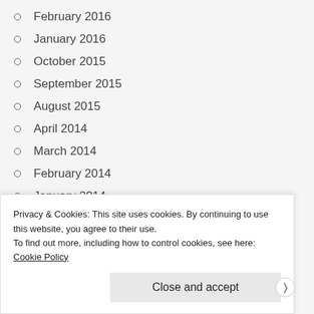February 2016
January 2016
October 2015
September 2015
August 2015
April 2014
March 2014
February 2014
January 2014
Advertisements
[Figure (other): Blue advertisement banner with text 'When your WordPress site']
Privacy & Cookies: This site uses cookies. By continuing to use this website, you agree to their use.
To find out more, including how to control cookies, see here: Cookie Policy
Close and accept